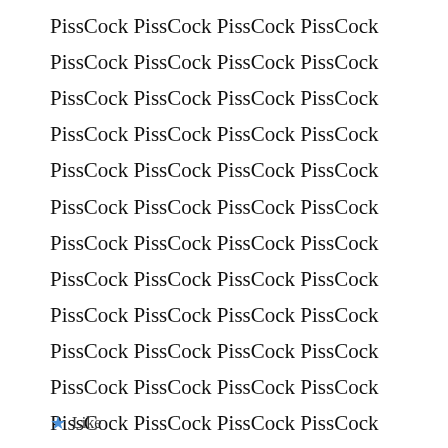PissCock PissCock PissCock PissCock PissCock PissCock PissCock PissCock PissCock PissCock PissCock PissCock PissCock PissCock PissCock PissCock PissCock PissCock PissCock PissCock PissCock PissCock PissCock PissCock PissCock PissCock PissCock PissCock PissCock PissCock PissCock PissCock PissCock PissCock PissCock PissCock PissCock PissCock PissCock PissCock PissCock PissCock PissCock PissCock PissCock PissCock PissCock PissCock PissCock PissCock PissCock PissCock PissCock PissCock PissCock PissCock PissCock PissCock PissCock PissCock Piss
★ Like